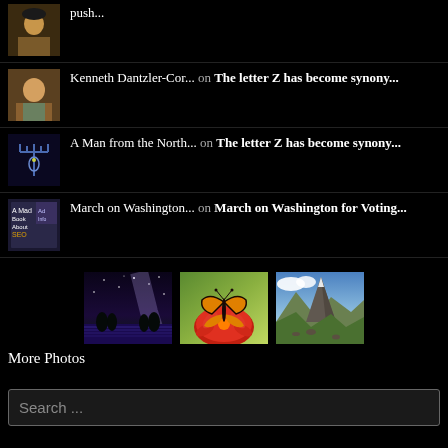push...
Kenneth Dantzler-Cor... on The letter Z has become synony...
A Man from the North... on The letter Z has become synony...
March on Washington... on March on Washington for Voting...
[Figure (photo): Three thumbnail photos: night sky over lavender field, monarch butterfly on red flower, mountain peak]
More Photos
Search ...